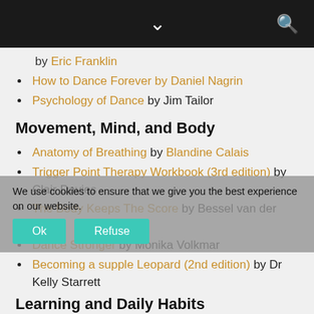by Eric Franklin
How to Dance Forever by Daniel Nagrin
Psychology of Dance by Jim Tailor
Movement, Mind, and Body
Anatomy of Breathing by Blandine Calais
Trigger Point Therapy Workbook (3rd edition) by Clair Davies
The Body Keeps The Score by Bessel van der Kolk
Dance Stronger by Monika Volkmar
Becoming a supple Leopard (2nd edition) by Dr Kelly Starrett
Learning and Daily Habits
The Art of Learning by Josh Waitzkin